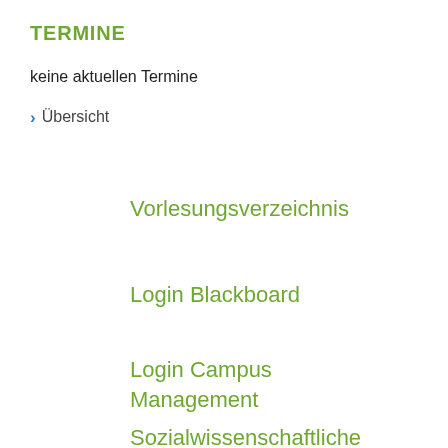TERMINE
keine aktuellen Termine
Übersicht
Vorlesungsverzeichnis
Login Blackboard
Login Campus Management
Sozialwissenschaftliche